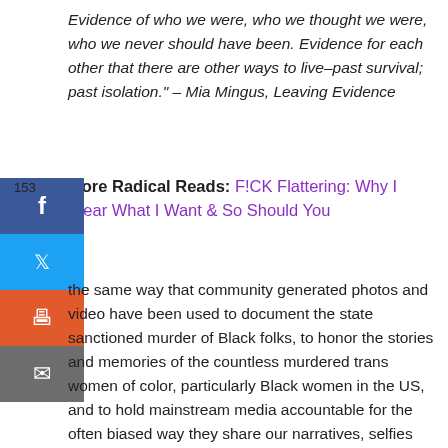Evidence of who we were, who we thought we were, who we never should have been. Evidence for each other that there are other ways to live–past survival; past isolation." – Mia Mingus, Leaving Evidence
153
More Radical Reads: F!CK Flattering: Why I Wear What I Want & So Should You
[Figure (infographic): Social media sharing sidebar with Facebook, Twitter, Print, and Email buttons in blue, light blue, orange, and grey respectively]
the same way that community generated photos and video have been used to document the state sanctioned murder of Black folks, to honor the stories and memories of the countless murdered trans women of color, particularly Black women in the US, and to hold mainstream media accountable for the often biased way they share our narratives, selfies can be and often are one of the many tools marginalized communities can utilize to frame our